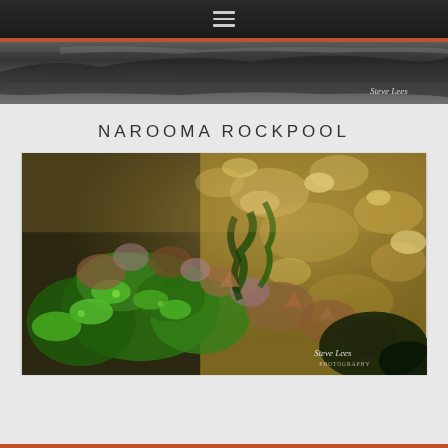Navigation bar with hamburger menu
[Figure (photo): Partial view of a black and white landscape/nature photograph with Steve Lees Photography watermark]
NAROOMA ROCKPOOL
[Figure (photo): Close-up colour photograph of a rockpool at Narooma showing green algae, barnacles, and clear water reflections with golden light. Steve Lees Photography watermark in bottom right.]